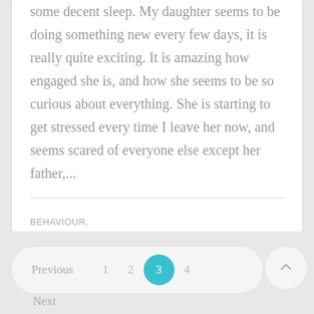some decent sleep. My daughter seems to be doing something new every few days, it is really quite exciting. It is amazing how engaged she is, and how she seems to be so curious about everything. She is starting to get stressed every time I leave her now, and seems scared of everyone else except her father,...
BEHAVIOUR,
PARENTING,
PHILOSOPHY
Previous  1  2  3  4  Next